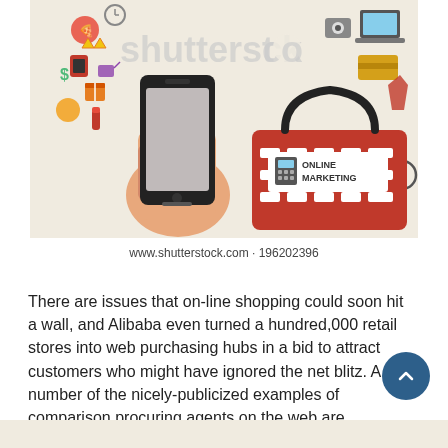[Figure (illustration): Shutterstock stock image showing a hand holding a smartphone with shopping icons floating around it, and a red shopping basket labeled 'ONLINE MARKETING' on the right. Watermark reads 'shutterstock'.]
www.shutterstock.com · 196202396
There are issues that on-line shopping could soon hit a wall, and Alibaba even turned a hundred,000 retail stores into web purchasing hubs in a bid to attract customers who might have ignored the net blitz. A number of the nicely-publicized examples of comparison procuring agents on the web are BargainFinder, Jango and MySimon.